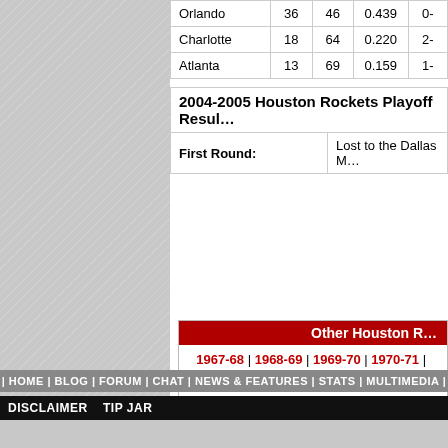| Team | W | L | PCT |  |
| --- | --- | --- | --- | --- |
| Orlando | 36 | 46 | 0.439 | 0- |
| Charlotte | 18 | 64 | 0.220 | 2- |
| Atlanta | 13 | 69 | 0.159 | 1- |
| 2004-2005 Houston Rockets Playoff Resul… |  |
| --- | --- |
| First Round: | Lost to the Dallas M… |
Other Houston R…
1967-68 | 1968-69 | 1969-70 | 1970-71 | … 1976-77 | 1977-78 | 1978-79 | 1979-80 | … 1985-86 | 1986-87 | 1987-88 | 1988-89 | … 1994-95 | 1995-96 | 1996-97 | 1997-98 | … 2003-04 | 2004-05 | 2005-06 | 2006-07 | … 2012-13 | 2013-14 | 2014-…
| HOME | BLOG | FORUM | CHAT | NEWS & FEATURES | STATS | MULTIMEDIA |
DISCLAIMER   TIP JAR